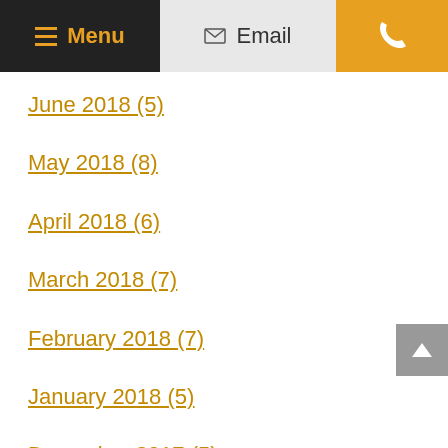Menu | Email | Phone
June 2018 (5)
May 2018 (8)
April 2018 (6)
March 2018 (7)
February 2018 (7)
January 2018 (5)
December 2017 (5)
November 2017 (5)